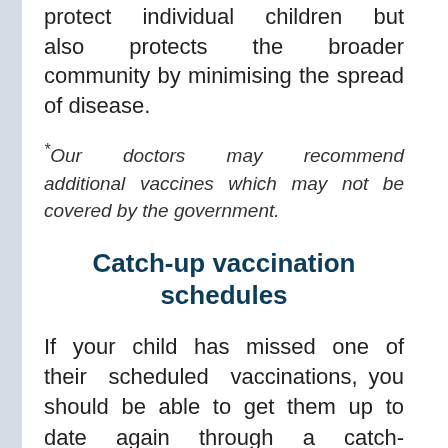protect individual children but also protects the broader community by minimising the spread of disease.
*Our doctors may recommend additional vaccines which may not be covered by the government.
Catch-up vaccination schedules
If your child has missed one of their scheduled vaccinations, you should be able to get them up to date again through a catch-up schedule (other than rotavirus as explained above). Talk to your GP or immunisation